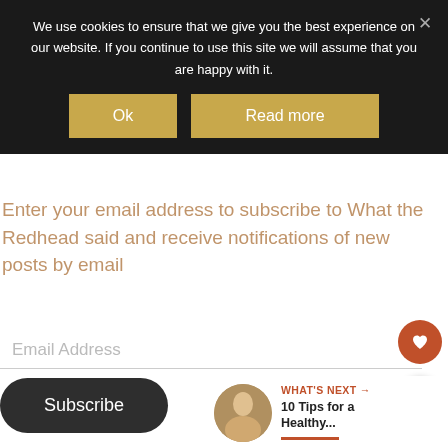We use cookies to ensure that we give you the best experience on our website. If you continue to use this site we will assume that you are happy with it.
Ok
Read more
Enter your email address to subscribe to What the Redhead said and receive notifications of new posts by email
Email Address
Subscribe
WHAT'S NEXT → 10 Tips for a Healthy...